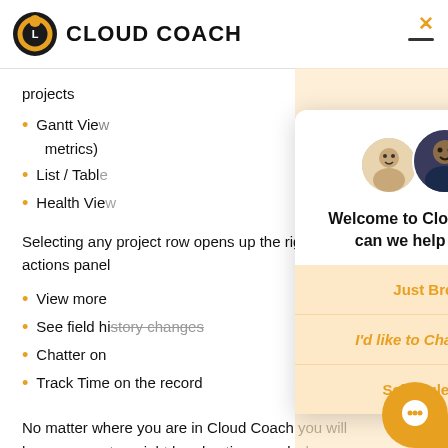CLOUD COACH
projects
Gantt View metrics)
List / Table
Health View
Selecting any project row opens up the right hand actions panel
View more
See field history changes
Chatter on
Track Time on the record
No matter where you are in Cloud Coach you will have access to a right hand action panel whenever
[Figure (screenshot): Cloud Coach chat widget overlay with welcome message and three options: Just Browsing, I'd like to Chat with Sales, Schedule a Demo]